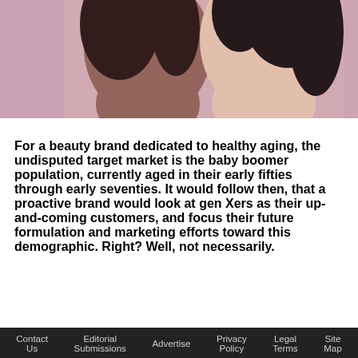[Figure (photo): Photograph of two women of different ethnicities close together, faces visible, warm tones with pink/mauve background]
For a beauty brand dedicated to healthy aging, the undisputed target market is the baby boomer population, currently aged in their early fifties through early seventies. It would follow then, that a proactive brand would look at gen Xers as their up-and-coming customers, and focus their future formulation and marketing efforts toward this demographic. Right? Well, not necessarily.
Contact Us   Editorial Submissions   Advertise   Privacy Policy   Legal Terms   Site Map